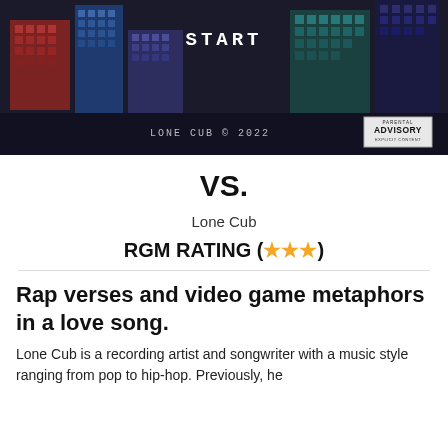[Figure (illustration): Album art for 'VS.' by Lone Cub showing a pixelated city skyline on dark background with 'START' text in center, 'LONE CUB © 2022' at bottom, and Parental Advisory Explicit Content label at bottom right]
VS.
Lone Cub
RGM RATING (★★★)
Rap verses and video game metaphors in a love song.
Lone Cub is a recording artist and songwriter with a music style ranging from pop to hip-hop. Previously, he